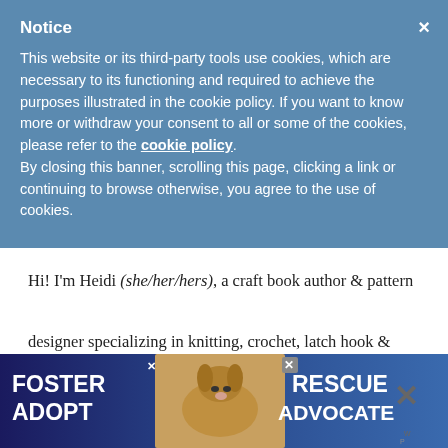Notice
This website or its third-party tools use cookies, which are necessary to its functioning and required to achieve the purposes illustrated in the cookie policy. If you want to know more or withdraw your consent to all or some of the cookies, please refer to the cookie policy. By closing this banner, scrolling this page, clicking a link or continuing to browse otherwise, you agree to the use of cookies.
Hi! I'm Heidi (she/her/hers), a craft book author & pattern designer specializing in knitting, crochet, latch hook & macrame. Really anything with yarn! ♥  My work combines vi... and ...
[Figure (photo): Advertisement banner: FOSTER ADOPT RESCUE ADVOCATE with a beagle dog photo]